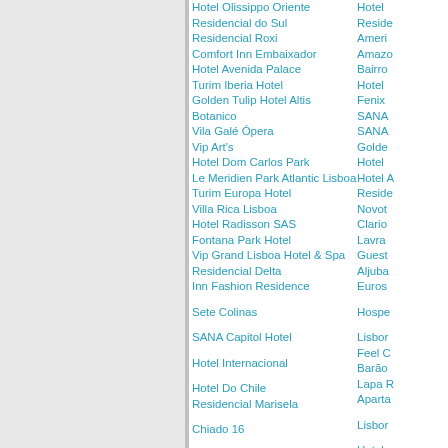Hotel Olissippo Oriente
Residencial do Sul
Residencial Roxi
Comfort Inn Embaixador
Hotel Avenida Palace
Turim Iberia Hotel
Golden Tulip Hotel Altis
Botanico
Vila Galé Ópera
Vip Art's
Hotel Dom Carlos Park
Le Meridien Park Atlantic Lisboa
Turim Europa Hotel
Villa Rica Lisboa
Hotel Radisson SAS
Fontana Park Hotel
Vip Grand Lisboa Hotel & Spa
Residencial Delta
Inn Fashion Residence
Sete Colinas
SANA Capitol Hotel
Hotel Internacional
Hotel Do Chile
Residencial Marisela
Chiado 16
Pensão Residencial Portuense
Rent4days Baixa Brown´S Apartments
Hotel
Reside
Ameri
Amazo
Bairro
Hotel
Fenix
SANA
SANA
Golde
Hotel
Hotel A
Reside
Novot
Clario
Lavra
Guest
Aljuba
Euros
Hospe
Lisbor
Feel C
Barão
Lapa R
Aparta
Lisbor
Hotel
Golde